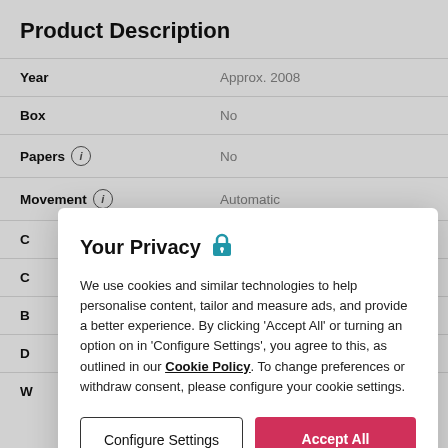Product Description
| Field | Value |
| --- | --- |
| Year | Approx. 2008 |
| Box | No |
| Papers | No |
| Movement | Automatic |
Your Privacy
We use cookies and similar technologies to help personalise content, tailor and measure ads, and provide a better experience. By clicking 'Accept All' or turning an option on in 'Configure Settings', you agree to this, as outlined in our Cookie Policy. To change preferences or withdraw consent, please configure your cookie settings.
Configure Settings | Accept All